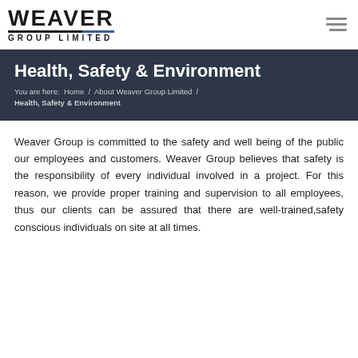WEAVER GROUP LIMITED
Health, Safety & Environment
You are here:  Home  /  About Weaver Group Limited  /  Health, Safety & Environment
Weaver Group is committed to the safety and well being of the public our employees and customers. Weaver Group believes that safety is the responsibility of every individual involved in a project. For this reason, we provide proper training and supervision to all employees, thus our clients can be assured that there are well-trained,safety conscious individuals on site at all times.